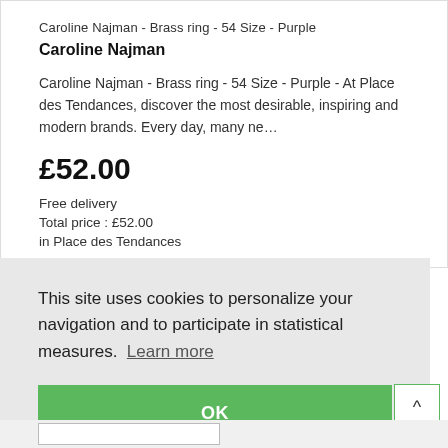Caroline Najman - Brass ring - 54 Size - Purple
Caroline Najman
Caroline Najman - Brass ring - 54 Size - Purple - At Place des Tendances, discover the most desirable, inspiring and modern brands. Every day, many ne…
£52.00
Free delivery
Total price : £52.00
in Place des Tendances
This site uses cookies to personalize your navigation and to participate in statistical measures. Learn more
OK